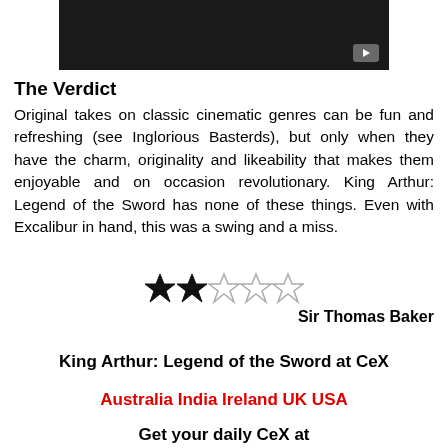[Figure (screenshot): Dark video thumbnail with play button in bottom-right corner]
The Verdict
Original takes on classic cinematic genres can be fun and refreshing (see Inglorious Basterds), but only when they have the charm, originality and likeability that makes them enjoyable and on occasion revolutionary. King Arthur: Legend of the Sword has none of these things. Even with Excalibur in hand, this was a swing and a miss.
[Figure (other): Star rating: 2 out of 5 stars (2 filled stars, 3 empty stars)]
Sir Thomas Baker
King Arthur: Legend of the Sword at CeX
Australia India Ireland UK USA
Get your daily CeX at